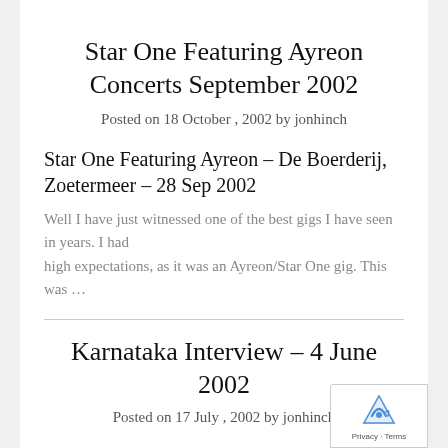Star One Featuring Ayreon Concerts September 2002
Posted on 18 October , 2002 by jonhinch
Star One Featuring Ayreon – De Boerderij, Zoetermeer – 28 Sep 2002
Well I have just witnessed one of the best gigs I have seen in years. I had high expectations, as it was an Ayreon/Star One gig. This was …
Karnataka Interview – 4 June 2002
Posted on 17 July , 2002 by jonhinch